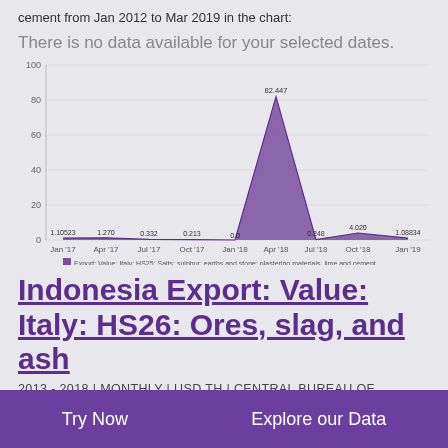cement from Jan 2012 to Mar 2019 in the chart:
There is no data available for your selected dates.
[Figure (area-chart): Export: Value: Italy: HS25: Salts; sulphur; earths and stone; plastering materials, lime and cement]
Indonesia Export: Value: Italy: HS26: Ores, slag, and ash
2013 - 2018 | MONTHLY | USD TH | CENTRAL BUREAU OF STATISTICS
Try Now   Explore our Data